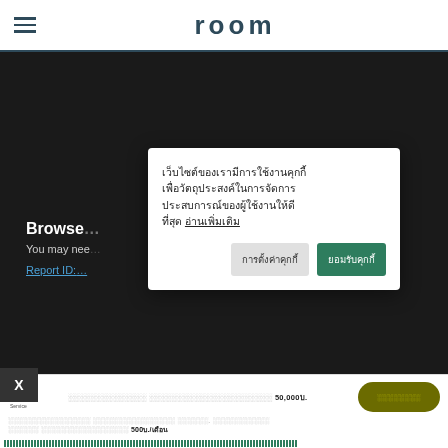room
[Figure (screenshot): Dark browser error screen showing 'Browse...' title and 'You may nee...' subtitle with a Report ID: link, overlaid by a Thai-language cookie consent modal with 'การตั้งค่าคุกกี้' and 'ยอมรับคุกกี้' buttons]
เว็บไซต์ของเรามีการใช้งานคุกกี้เพื่อวัตถุประสงค์ในการจัดการประสบการณ์ของผู้ใช้งานให้ดีที่สุด อ่านเพิ่มเติม
การตั้งค่าคุกกี้    ยอมรับคุกกี้
[Figure (logo): AIS 5G Insurance Service logo]
50,000บ.
500บ./เดือน